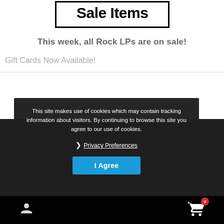Sale Items
This week, all Rock LPs are on sale!
Gift Cards Now Available!
This site makes use of cookies which may contain tracking information about visitors. By continuing to browse this site you agree to our use of cookies.
❯ Privacy Preferences
I Agree